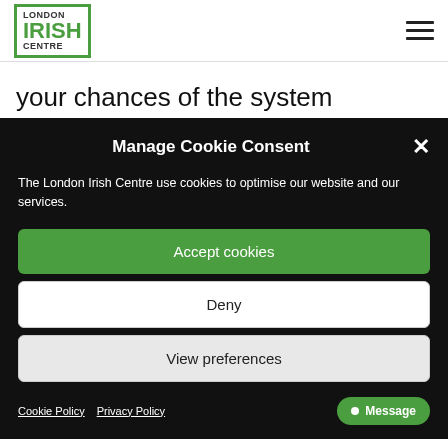[Figure (logo): London Irish Centre logo — green bordered box with 'LONDON' and 'CENTRE' in small caps, 'IRISH' in large bold green letters]
your chances of the system accepting them, please use the following companies recognised by the Irish
Manage Cookie Consent
The London Irish Centre use cookies to optimise our website and our services.
Accept cookies
Deny
View preferences
Cookie Policy  Privacy Policy  Message